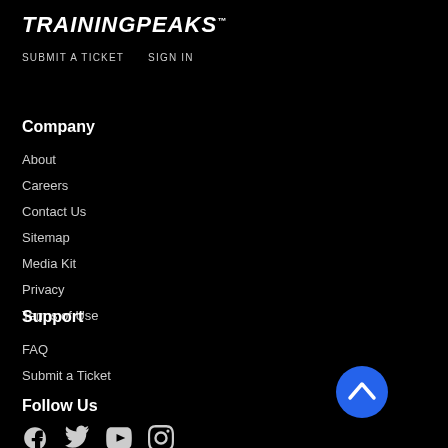TRAININGPEAKS™
SUBMIT A TICKET
SIGN IN
Company
About
Careers
Contact Us
Sitemap
Media Kit
Privacy
Terms of Use
Support
FAQ
Submit a Ticket
Follow Us
[Figure (illustration): Social media icons: Facebook, Twitter, YouTube, Instagram]
[Figure (other): Blue circular back-to-top button with upward chevron arrow]